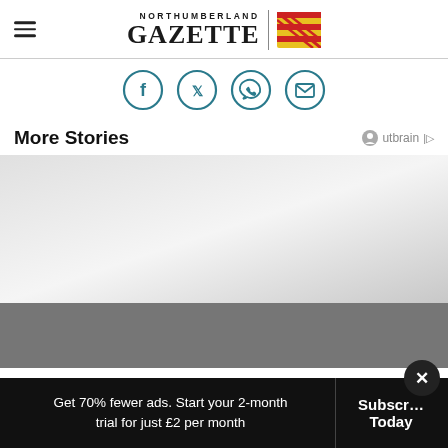Northumberland Gazette
[Figure (infographic): Social share icons: Facebook, Twitter, WhatsApp, Email — teal circle outlines]
More Stories
[Figure (other): Outbrain logo with speaker icon]
[Figure (photo): Light grey placeholder image area fading to white, then darker grey section below]
Get 70% fewer ads. Start your 2-month trial for just £2 per month
Subscribe Today